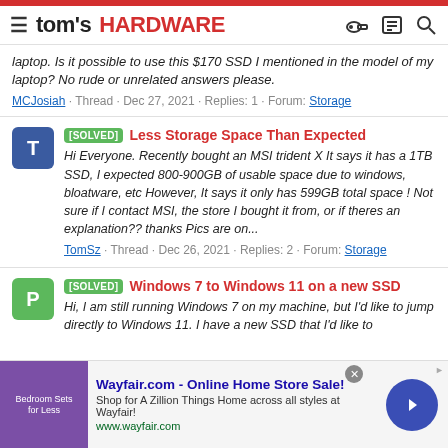tom's HARDWARE
laptop. Is it possible to use this $170 SSD I mentioned in the model of my laptop? No rude or unrelated answers please.
MCJosiah · Thread · Dec 27, 2021 · Replies: 1 · Forum: Storage
[SOLVED] Less Storage Space Than Expected
Hi Everyone. Recently bought an MSI trident X It says it has a 1TB SSD, I expected 800-900GB of usable space due to windows, bloatware, etc However, It says it only has 599GB total space ! Not sure if I contact MSI, the store I bought it from, or if theres an explanation?? thanks Pics are on...
TomSz · Thread · Dec 26, 2021 · Replies: 2 · Forum: Storage
[SOLVED] Windows 7 to Windows 11 on a new SSD
Hi, I am still running Windows 7 on my machine, but I'd like to jump directly to Windows 11. I have a new SSD that I'd like to
Wayfair.com - Online Home Store Sale! Shop for A Zillion Things Home across all styles at Wayfair! www.wayfair.com